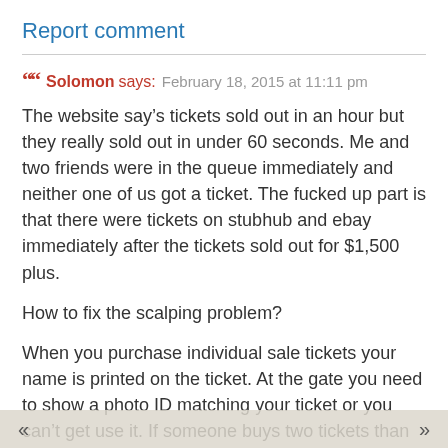Report comment
Solomon says: February 18, 2015 at 11:11 pm
The website say’s tickets sold out in an hour but they really sold out in under 60 seconds. Me and two friends were in the queue immediately and neither one of us got a ticket. The fucked up part is that there were tickets on stubhub and ebay immediately after the tickets sold out for $1,500 plus.
How to fix the scalping problem?
When you purchase individual sale tickets your name is printed on the ticket. At the gate you need to show a photo ID matching your ticket or you can’t get use it. If someone buys two tickets than the person getting the second ticket needs to enter the playa with the